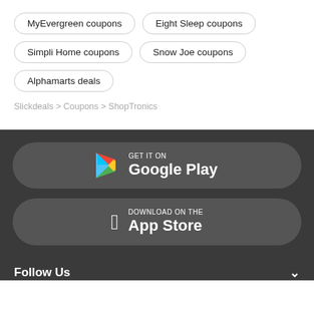MyEvergreen coupons
Eight Sleep coupons
Simpli Home coupons
Snow Joe coupons
Alphamarts deals
Slickdeals > Coupons > ShopTronics
[Figure (screenshot): GET IT ON Google Play button - dark rounded rectangle with Google Play logo and text]
[Figure (screenshot): Download on the App Store button - dark rounded rectangle with Apple logo and text]
Follow Us